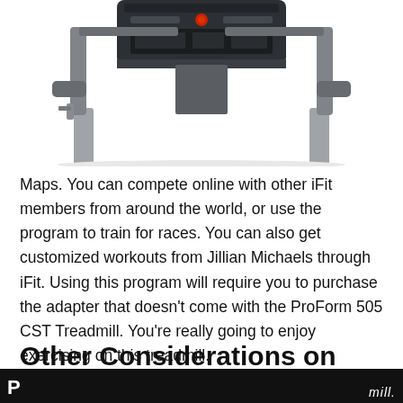[Figure (photo): Top portion of a ProForm treadmill showing the handlebar console area with control panel, handlebars, and front legs, photographed from the front against a white background.]
Maps. You can compete online with other iFit members from around the world, or use the program to train for races. You can also get customized workouts from Jillian Michaels through iFit. Using this program will require you to purchase the adapter that doesn’t come with the ProForm 505 CST Treadmill. You’re really going to enjoy exercising on this treadmill.
Other Considerations on the
P  —  ———  mill.